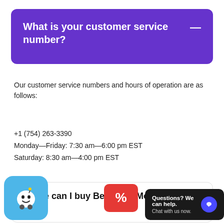What is your customer service number?
Our customer service numbers and hours of operation are as follows:
+1 (754) 263-3390
Monday—Friday: 7:30 am—6:00 pm EST
Saturday: 8:30 am—4:00 pm EST
Where can I buy Benjamin Moore paint?
[Figure (screenshot): Waze app icon overlay in bottom-left corner]
[Figure (screenshot): Red promo/discount button overlay]
[Figure (screenshot): Dark chat widget overlay with 'Questions? We can help. Chat with us now.' and blue chat bubble icon]